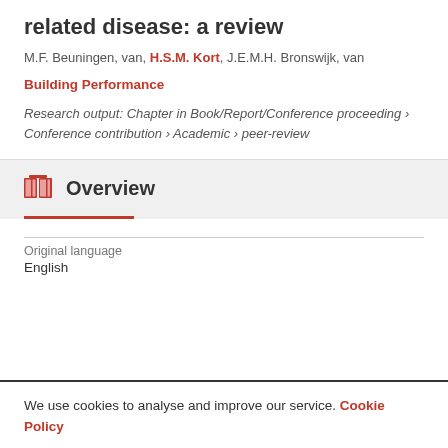related disease: a review
M.F. Beuningen, van, H.S.M. Kort, J.E.M.H. Bronswijk, van
Building Performance
Research output: Chapter in Book/Report/Conference proceeding › Conference contribution › Academic › peer-review
Overview
Original language
English
We use cookies to analyse and improve our service. Cookie Policy